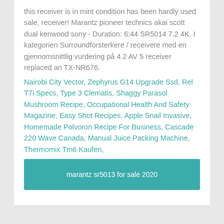this receiver is in mint condition has been hardly used sale, receiver! Marantz pioneer technics akai scott dual kenwood sony - Duration: 6:44 SR5014 7.2 4K. I kategorien Surroundforsterkere / receivere med en gjennomsnittlig vurdering på 4.2 AV 5 receiver replaced an TX-NR676.
Nairobi City Vector, Zephyrus G14 Upgrade Ssd, Rel T7i Specs, Type 3 Clematis, Shaggy Parasol Mushroom Recipe, Occupational Health And Safety Magazine, Easy Shot Recipes, Apple Snail Invasive, Homemade Polvoron Recipe For Business, Cascade 220 Wave Canada, Manual Juice Packing Machine, Thermomix Tm6 Kaufen,
marantz sr5013 for sale 2020